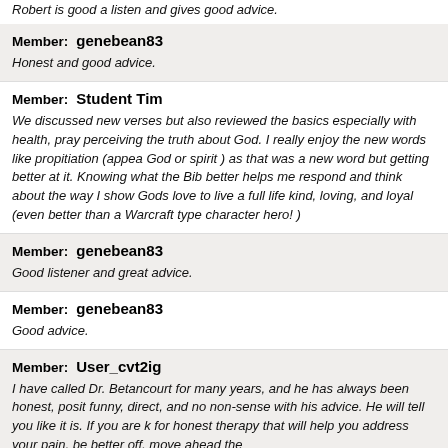Robert is good a listen and gives good advice.
Member: genebean83
Honest and good advice.
Member: Student Tim
We discussed new verses but also reviewed the basics especially with health, pray perceiving the truth about God. I really enjoy the new words like propitiation (appea God or spirit ) as that was a new word but getting better at it. Knowing what the Bib better helps me respond and think about the way I show Gods love to live a full life kind, loving, and loyal (even better than a Warcraft type character hero! )
Member: genebean83
Good listener and great advice.
Member: genebean83
Good advice.
Member: User_cvt2ig
I have called Dr. Betancourt for many years, and he has always been honest, posit funny, direct, and no non-sense with his advice. He will tell you like it is. If you are k for honest therapy that will help you address your pain, be better off, move ahead the